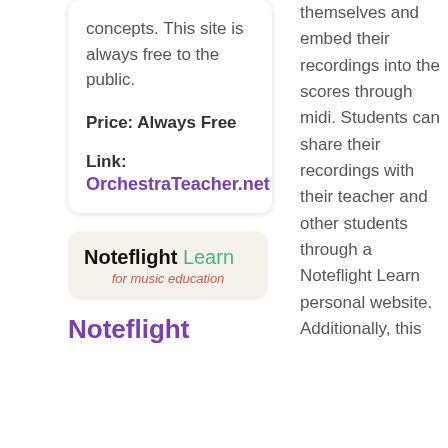concepts. This site is always free to the public.
Price: Always Free
Link: OrchestraTeacher.net
[Figure (logo): Noteflight Learn for music education logo on beige background]
Noteflight
themselves and embed their recordings into the scores through midi. Students can share their recordings with their teacher and other students through a Noteflight Learn personal website. Additionally, this